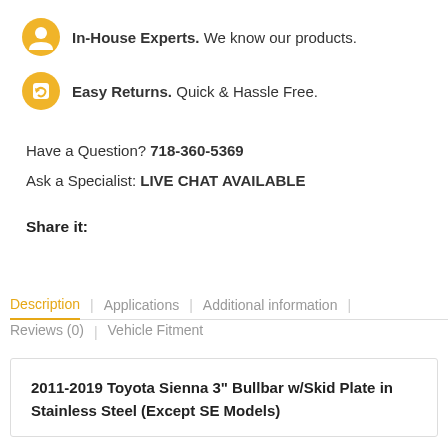In-House Experts. We know our products.
Easy Returns. Quick & Hassle Free.
Have a Question? 718-360-5369
Ask a Specialist: LIVE CHAT AVAILABLE
Share it:
Description | Applications | Additional information | Reviews (0) | Vehicle Fitment
2011-2019 Toyota Sienna 3" Bullbar w/Skid Plate in Stainless Steel (Except SE Models)